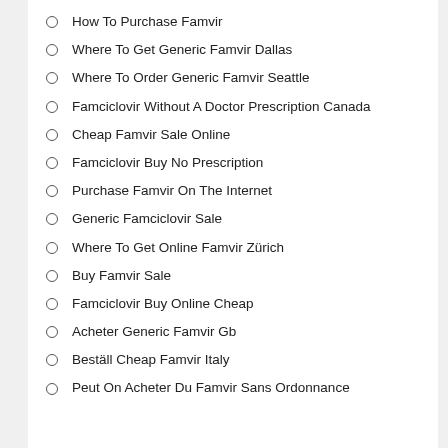How To Purchase Famvir
Where To Get Generic Famvir Dallas
Where To Order Generic Famvir Seattle
Famciclovir Without A Doctor Prescription Canada
Cheap Famvir Sale Online
Famciclovir Buy No Prescription
Purchase Famvir On The Internet
Generic Famciclovir Sale
Where To Get Online Famvir Zürich
Buy Famvir Sale
Famciclovir Buy Online Cheap
Acheter Generic Famvir Gb
Beställ Cheap Famvir Italy
Peut On Acheter Du Famvir Sans Ordonnance